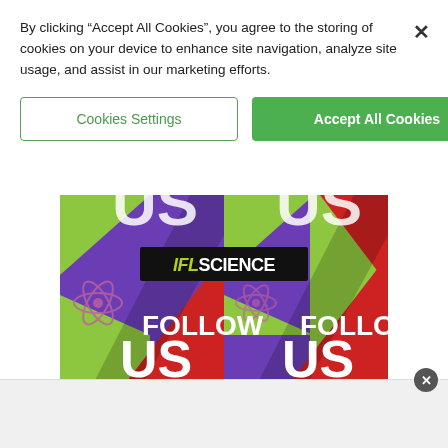By clicking “Accept All Cookies”, you agree to the storing of cookies on your device to enhance site navigation, analyze site usage, and assist in our marketing efforts.
Cookies Settings
Accept All Cookies
[Figure (illustration): IFLScience Follow Us promotional banner showing colorful green, purple, and red geometric design with FOLLOW US text repeated twice and the IFLScience logo in the center]
Advertisement